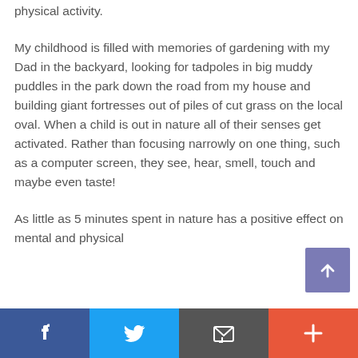physical activity.
My childhood is filled with memories of gardening with my Dad in the backyard, looking for tadpoles in big muddy puddles in the park down the road from my house and building giant fortresses out of piles of cut grass on the local oval. When a child is out in nature all of their senses get activated. Rather than focusing narrowly on one thing, such as a computer screen, they see, hear, smell, touch and maybe even taste!
As little as 5 minutes spent in nature has a positive effect on mental and physical
[Figure (infographic): Purple scroll-to-top button with upward arrow icon, positioned bottom right above the social media bar]
Social share bar with Facebook, Twitter, Email, and Plus buttons